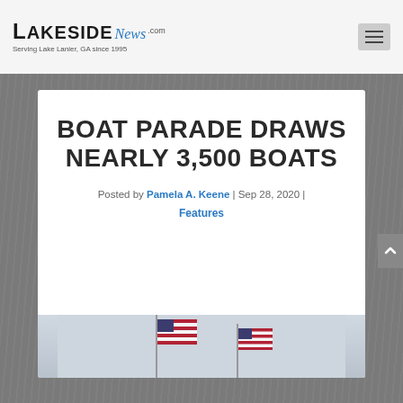Lakeside News.com — Serving Lake Lanier, GA since 1995
BOAT PARADE DRAWS NEARLY 3,500 BOATS
Posted by Pamela A. Keene | Sep 28, 2020 | Features
[Figure (photo): Photo of American flags on boats at a boat parade, light sky background]